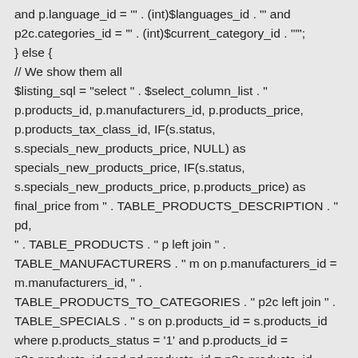and p.language_id = '' . (int)$languages_id . '' and p2c.categories_id = '' . (int)$current_category_id . ''";
} else {
// We show them all
$listing_sql = "select " . $select_column_list . " p.products_id, p.manufacturers_id, p.products_price, p.products_tax_class_id, IF(s.status, s.specials_new_products_price, NULL) as specials_new_products_price, IF(s.status, s.specials_new_products_price, p.products_price) as final_price from " . TABLE_PRODUCTS_DESCRIPTION . " pd, " . TABLE_PRODUCTS . " p left join " . TABLE_MANUFACTURERS . " m on p.manufacturers_id = m.manufacturers_id, " . TABLE_PRODUCTS_TO_CATEGORIES . " p2c left join " . TABLE_SPECIALS . " s on p.products_id = s.products_id where p.products_status = '1' and p.products_id = p2c.products_id and pd.products_id = p2c.products_id and pd.language_id = '' . (int)$languages_id . '' and p.categories_id = '' . (int)$current_category_id . ''";